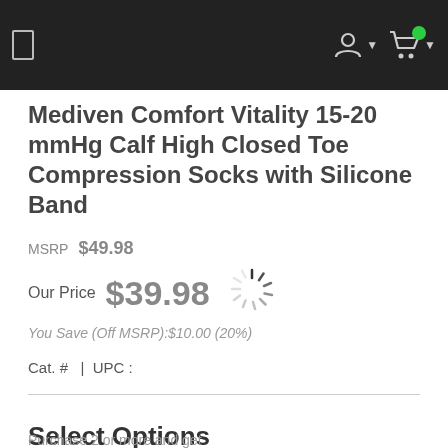Navigation header with hamburger menu, user account icon, and cart icon with green notification badge
Mediven Comfort Vitality 15-20 mmHg Calf High Closed Toe Compression Socks with Silicone Band
MSRP $49.98
Our Price $39.98
You Save (Off MSRP):$10.00 (20%)
Cat. # | UPC :
Select Options
Purchase 2 or more and get